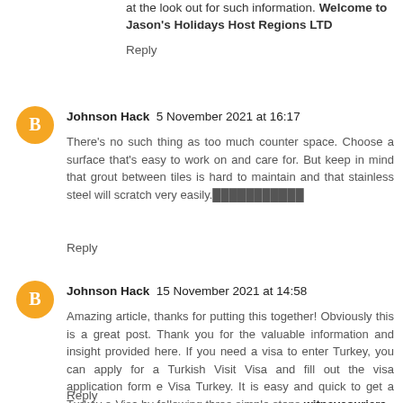at the look out for such information. Welcome to Jason's Holidays Host Regions LTD
Reply
Johnson Hack  5 November 2021 at 16:17
There's no such thing as too much counter space. Choose a surface that's easy to work on and care for. But keep in mind that grout between tiles is hard to maintain and that stainless steel will scratch very easily.███████████
Reply
Johnson Hack  15 November 2021 at 14:58
Amazing article, thanks for putting this together! Obviously this is a great post. Thank you for the valuable information and insight provided here. If you need a visa to enter Turkey, you can apply for a Turkish Visit Visa and fill out the visa application form e Visa Turkey. It is easy and quick to get a Turkey e-Visa by following three simple steps.witneycouriers
Reply